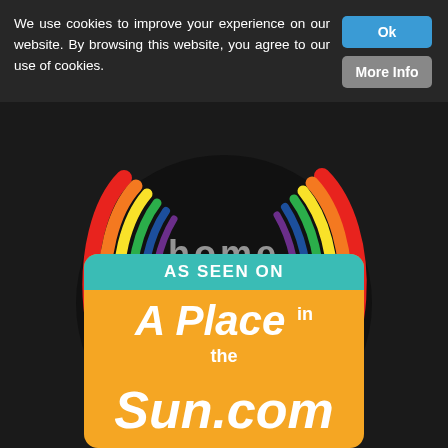We use cookies to improve your experience on our website. By browsing this website, you agree to our use of cookies.
[Figure (logo): Home2Spain.com logo — colorful rainbow swirl with house icon and text 'home 2 Spain .com' on dark background]
[Figure (logo): As Seen On A Place in the Sun .com badge — orange rounded rectangle with teal header bar]